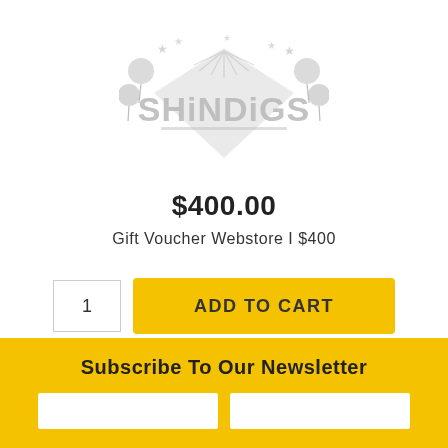[Figure (logo): Shindigs party store logo in light gray, featuring stylized text 'SHiNDiGS' with stars and balloons]
$400.00
Gift Voucher Webstore I $400
1  ADD TO CART
Subscribe To Our Newsletter